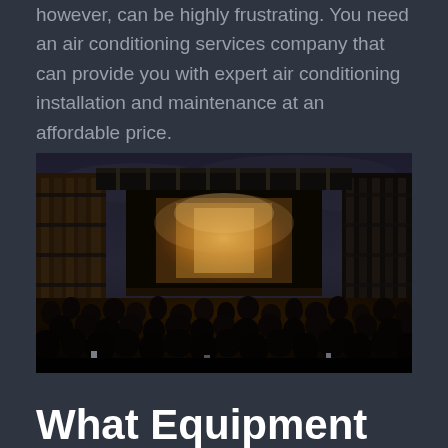however, can be highly frustrating. You need an air conditioning services company that can provide you with expert air conditioning installation and maintenance at an affordable price.
[Figure (photo): A dark nighttime outdoor concert scene with a large illuminated stage, dramatic lighting with golden/orange hues, and a large crowd of people in the foreground. Scaffolding and rigging structures are visible on either side of the stage.]
What Equipment